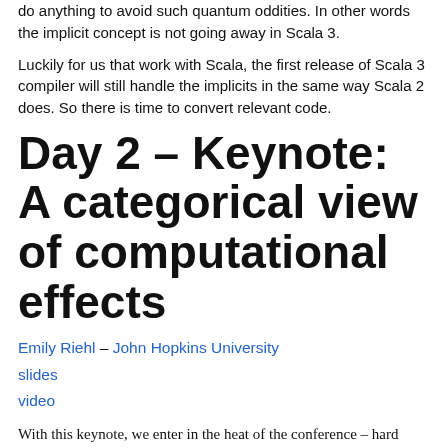do anything to avoid such quantum oddities. In other words the implicit concept is not going away in Scala 3.
Luckily for us that work with Scala, the first release of Scala 3 compiler will still handle the implicits in the same way Scala 2 does. So there is time to convert relevant code.
Day 2 – Keynote: A categorical view of computational effects
Emily Riehl – John Hopkins University
slides
video
With this keynote, we enter in the heat of the conference – hard algebra. Emily is an associate professor at John Hopkins University (USA) and talked about algebra and effects. Effects have always been problematic to FP – since they break the